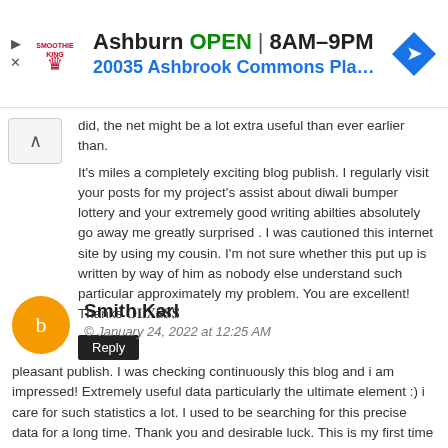[Figure (infographic): Advertisement banner for Smoothie King in Ashburn showing OPEN 8AM-9PM, address 20035 Ashbrook Commons Pla..., with navigation icon]
did, the net might be a lot extra useful than ever earlier than.
It's miles a completely exciting blog publish. I regularly visit your posts for my project's assist about diwali bumper lottery and your extremely good writing abilties absolutely go away me greatly surprised . I was cautioned this internet site by using my cousin. I'm not sure whether this put up is written by way of him as nobody else understand such particular approximately my problem. You are excellent! Thanks 𝐎𝐋𝐗𝐒𝐒𝐒
Reply
Smith Karl
© January 24, 2022 at 12:25 AM
pleasant publish. I was checking continuously this blog and i am impressed! Extremely useful data particularly the ultimate element :) i care for such statistics a lot. I used to be searching for this precise data for a long time. Thank you and desirable luck. This is my first time i go to right here. I found so many wonderful stuff to your blog, especially its